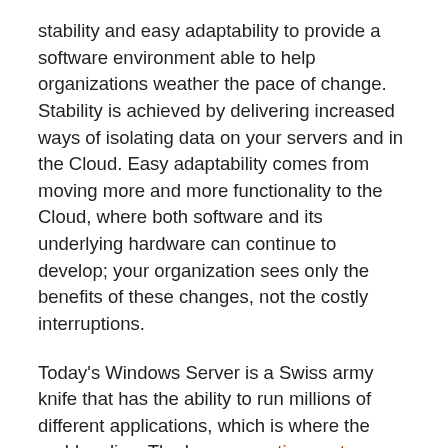stability and easy adaptability to provide a software environment able to help organizations weather the pace of change. Stability is achieved by delivering increased ways of isolating data on your servers and in the Cloud. Easy adaptability comes from moving more and more functionality to the Cloud, where both software and its underlying hardware can continue to develop; your organization sees only the benefits of these changes, not the costly interruptions.
Today's Windows Server is a Swiss army knife that has the ability to run millions of different applications, which is where the problem lies: The base operating system (OS) continues to grow in size and complexity. (The overhead of a traditional Windows Server providing a single-core service is staggering. Simply foot over where DNS...